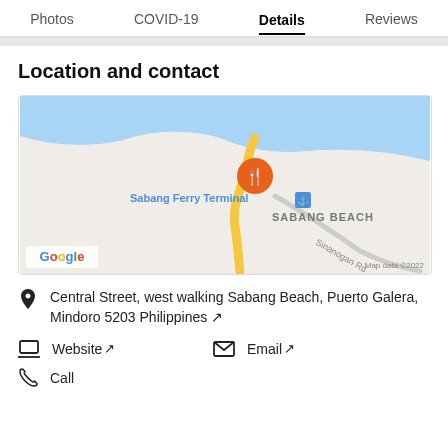Photos   COVID-19   Details   Reviews
Location and contact
[Figure (map): Google Maps showing Sabang Ferry Terminal and Sabang Beach area in Puerto Galera, Philippines with an orange restaurant marker pin. Map data ©2022.]
Central Street, west walking Sabang Beach, Puerto Galera, Mindoro 5203 Philippines ↗
Website ↗
Email ↗
Call